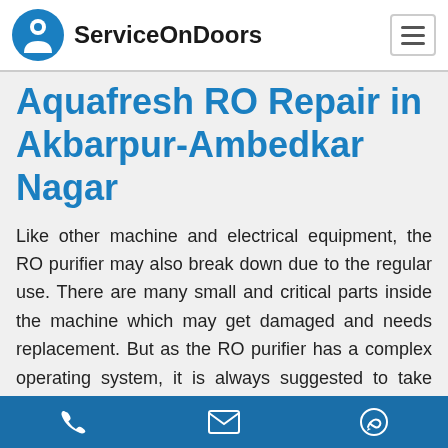ServiceOnDoors
Aquafresh RO Repair in Akbarpur-Ambedkar Nagar
Like other machine and electrical equipment, the RO purifier may also break down due to the regular use. There are many small and critical parts inside the machine which may get damaged and needs replacement. But as the RO purifier has a complex operating system, it is always suggested to take assistance only from the technically expert personals. The skilled engineers from the Aquafresh RO service center have complete knowledge and experience and provide
Phone | Email | WhatsApp